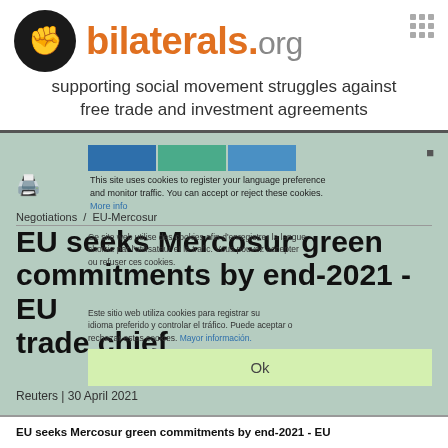[Figure (logo): bilaterals.org logo with raised fists icon in dark circle and orange text]
supporting social movement struggles against free trade and investment agreements
[Figure (screenshot): Screenshot of bilaterals.org article page showing cookie consent overlay in multiple languages over article about EU-Mercosur negotiations]
EU seeks Mercosur green commitments by end-2021 - EU trade chief
Reuters | 30 April 2021
EU seeks Mercosur green commitments by end-2021 - EU